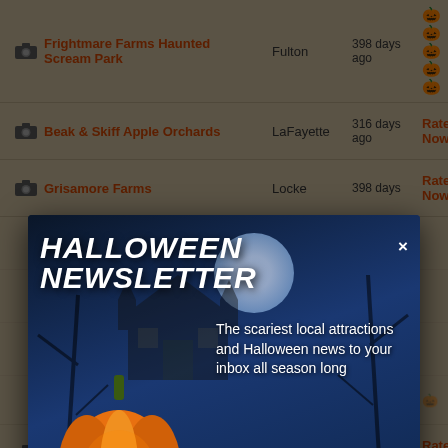Frightmare Farms Haunted Scream Park | Fulton | 398 days ago | (pumpkin icons)
Beak & Skiff Apple Orchards | LaFayette | 316 days ago | Rate Now!
Grisamore Farms | Locke | 398 days ago | Rate Now!
[Figure (screenshot): Halloween Newsletter modal popup with jack-o-lantern, haunted house background, text 'The scariest local attractions and Halloween news to your inbox all season long', bullet '• New York Edition •', email input field and orange Join button]
Cicero Pumkin Patch | Cicero | 350 days ago | Rate Now!
Green Acre Farms | Rochester | 348 days ago | Rate Now!